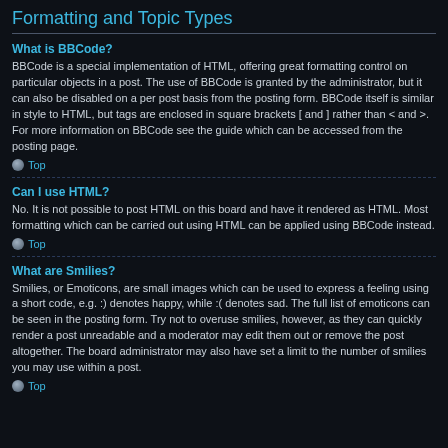Formatting and Topic Types
What is BBCode?
BBCode is a special implementation of HTML, offering great formatting control on particular objects in a post. The use of BBCode is granted by the administrator, but it can also be disabled on a per post basis from the posting form. BBCode itself is similar in style to HTML, but tags are enclosed in square brackets [ and ] rather than < and >. For more information on BBCode see the guide which can be accessed from the posting page.
Top
Can I use HTML?
No. It is not possible to post HTML on this board and have it rendered as HTML. Most formatting which can be carried out using HTML can be applied using BBCode instead.
Top
What are Smilies?
Smilies, or Emoticons, are small images which can be used to express a feeling using a short code, e.g. :) denotes happy, while :( denotes sad. The full list of emoticons can be seen in the posting form. Try not to overuse smilies, however, as they can quickly render a post unreadable and a moderator may edit them out or remove the post altogether. The board administrator may also have set a limit to the number of smilies you may use within a post.
Top